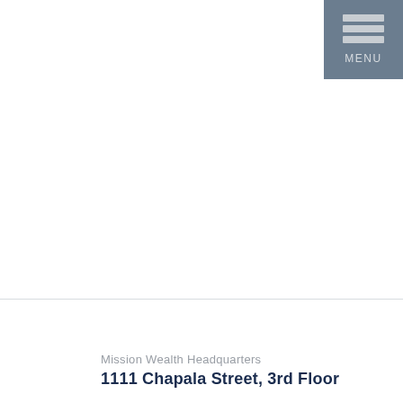[Figure (other): Menu button with three horizontal bars and MENU label on dark blue-grey background, positioned top-right corner]
Mission Wealth Headquarters
1111 Chapala Street, 3rd Floor